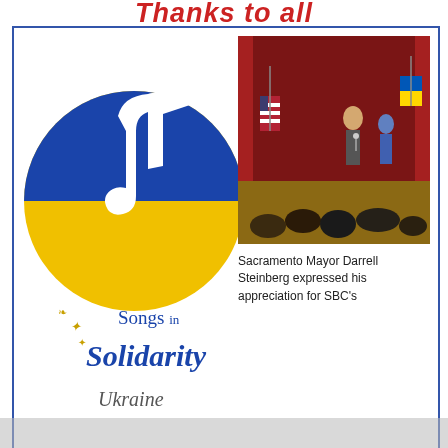Thanks to all
[Figure (logo): Songs in Solidarity logo with blue and yellow Ukrainian flag colors, musical note design, with decorative wheat/leaves motif]
[Figure (photo): Photo of Sacramento Mayor Darrell Steinberg on stage at event with audience seated, flags visible including Ukrainian flag]
Sacramento Mayor Darrell Steinberg expressed his appreciation for SBC's
Be... Mu... do...
Aug... con... atte...
It w... Minoshima and Mary Maruyama, who served as producers
Due to the Covid-19 Pandemic, the temple has limited activities. However, beginning Sept. 12, 2021, we are conducting in-person Dharma services and some organizational activities. For more information  Click Here
Got it!